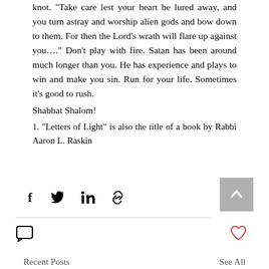knot. “Take care lest your heart be lured away, and you turn astray and worship alien gods and bow down to them. For then the Lord’s wrath will flare up against you….” Don’t play with fire. Satan has been around much longer than you. He has experience and plays to win and make you sin. Run for your life. Sometimes it’s good to rush.
Shabbat Shalom!
1.  "Letters of Light" is also the title of a book by Rabbi Aaron L. Raskin
[Figure (other): Social sharing icons: Facebook, Twitter, LinkedIn, link/chain icon; scroll-to-top button (grey square with up chevron)]
[Figure (other): Comment icon (speech bubble outline) and heart/like icon (red outline heart)]
Recent Posts
See All